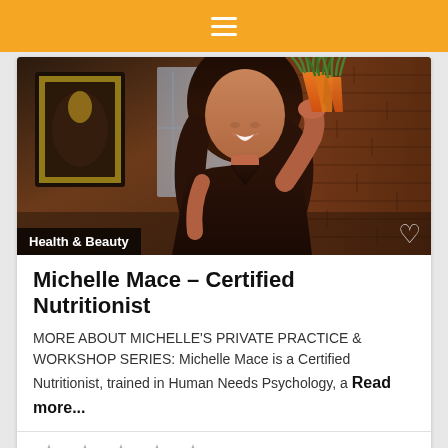☰
[Figure (photo): Woman with dark hair smiling, holding orange carrots with green tops, wearing a dark top, standing in a kitchen/restaurant setting with brick wall background]
Health & Beauty
Michelle Mace – Certified Nutritionist
MORE ABOUT MICHELLE'S PRIVATE PRACTICE & WORKSHOP SERIES: Michelle Mace is a Certified Nutritionist, trained in Human Needs Psychology, a Read more...
[Figure (other): Five empty/unfilled star rating icons in gray]